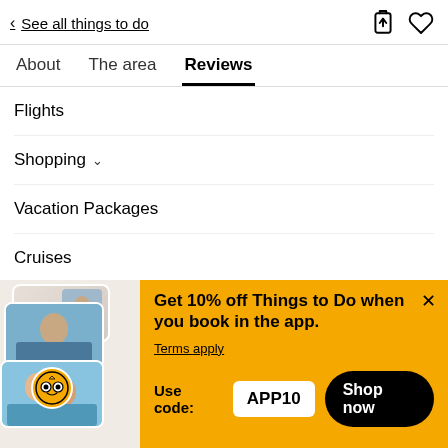< See all things to do
About
The area
Reviews
Flights
Shopping
Vacation Packages
Cruises
Get 10% off Things to Do when you book in the app. Terms apply
Use code: APP10
Shop now